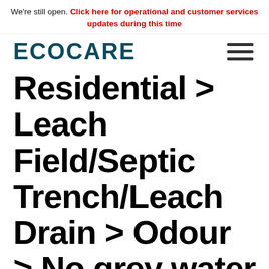We're still open. Click here for operational and customer services updates during this time
[Figure (logo): ECOCARE logo in dark teal/navy bold uppercase text, with hamburger menu icon on the right]
Residential > Leach Field/Septic Trench/Leach Drain > Odour > No grey water > 2 people